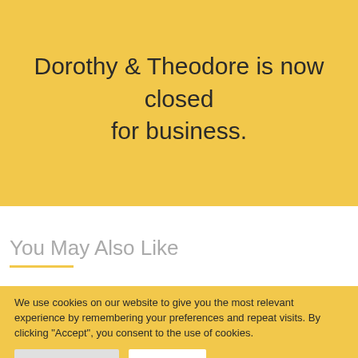Dorothy & Theodore is now closed for business.
You May Also Like
[Figure (photo): Partial photo strip showing what appears to be stationery or craft items on a wooden surface]
We use cookies on our website to give you the most relevant experience by remembering your preferences and repeat visits. By clicking “Accept”, you consent to the use of cookies.
Cookie Settings
Accept All